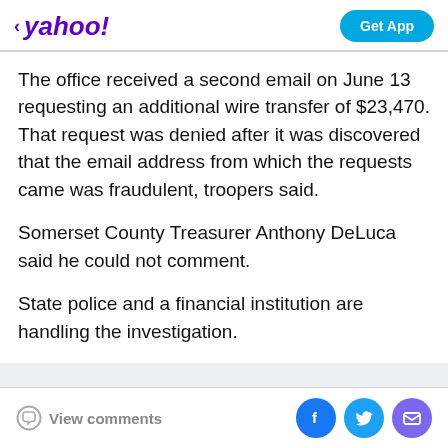yahoo! Get App
The office received a second email on June 13 requesting an additional wire transfer of $23,470. That request was denied after it was discovered that the email address from which the requests came was fraudulent, troopers said.
Somerset County Treasurer Anthony DeLuca said he could not comment.
State police and a financial institution are handling the investigation.
ADVERTISEMENT
View comments